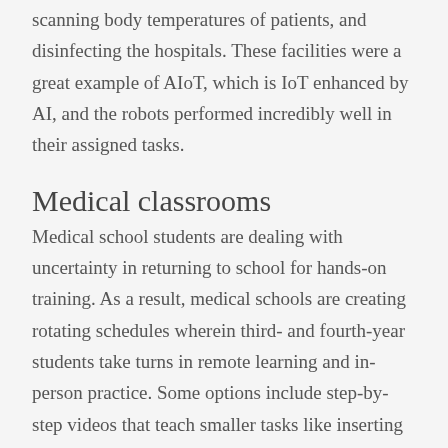scanning body temperatures of patients, and disinfecting the hospitals. These facilities were a great example of AIoT, which is IoT enhanced by AI, and the robots performed incredibly well in their assigned tasks.
Medical classrooms
Medical school students are dealing with uncertainty in returning to school for hands-on training. As a result, medical schools are creating rotating schedules wherein third- and fourth-year students take turns in remote learning and in-person practice. Some options include step-by-step videos that teach smaller tasks like inserting an IV and virtual case reviews with patients'